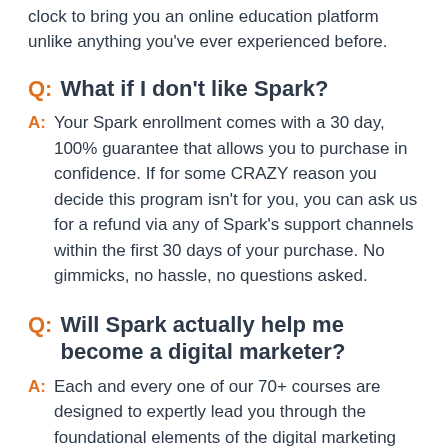clock to bring you an online education platform unlike anything you've ever experienced before.
Q:  What if I don't like Spark?
A:  Your Spark enrollment comes with a 30 day, 100% guarantee that allows you to purchase in confidence. If for some CRAZY reason you decide this program isn't for you, you can ask us for a refund via any of Spark's support channels within the first 30 days of your purchase. No gimmicks, no hassle, no questions asked.
Q:  Will Spark actually help me become a digital marketer?
A:  Each and every one of our 70+ courses are designed to expertly lead you through the foundational elements of the digital marketing